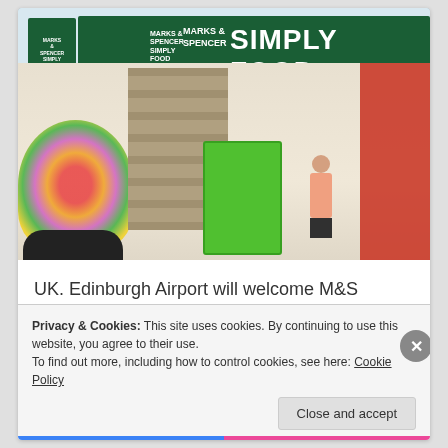[Figure (photo): Interior photo of a Marks & Spencer Simply Food store entrance, showing the green M&S Simply Food signage, shelves of food products, flower display on the left, a green cart in the middle aisle, red shelves on the right, and a staff member visible in the background.]
UK. Edinburgh Airport will welcome M&S Simply Food
Privacy & Cookies: This site uses cookies. By continuing to use this website, you agree to their use.
To find out more, including how to control cookies, see here: Cookie Policy
Close and accept